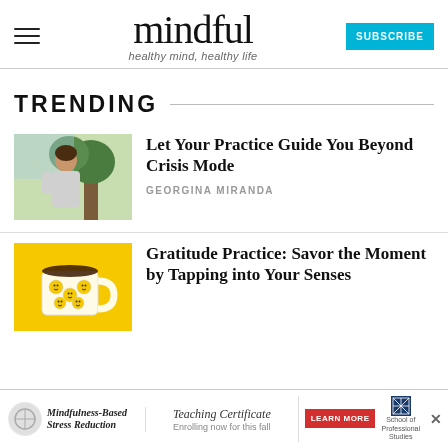mindful — healthy mind, healthy life
TRENDING
[Figure (photo): Woman standing near a tree outdoors, looking upward peacefully]
Let Your Practice Guide You Beyond Crisis Mode
GEORGINA MIRANDA
[Figure (illustration): Yellow background with illustrated coffee mug covered in smiley face emojis]
Gratitude Practice: Savor the Moment by Tapping into Your Senses
[Figure (infographic): Ad banner: Mindfulness-Based Stress Reduction | Teaching Certificate — Enrolling now for this fall | LEARN MORE | School of Professional Studies]